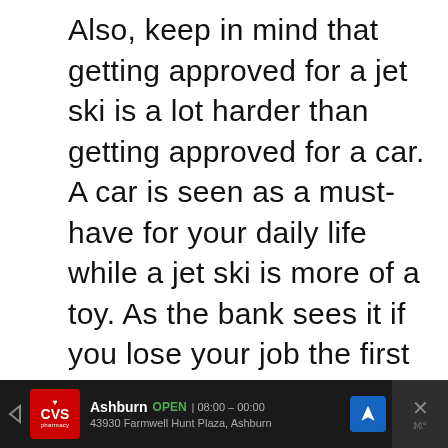Also, keep in mind that getting approved for a jet ski is a lot harder than getting approved for a car. A car is seen as a must-have for your daily life while a jet ski is more of a toy. As the bank sees it if you lose your job the first thing you'll stop paying on is all your toys.
[Figure (other): Light gray empty advertisement placeholder box with three dots below indicating a carousel]
[Figure (screenshot): CVS Pharmacy advertisement bar showing: Ashburn OPEN 08:00-00:00, 43930 Farmwell Hunt Plaza, Ashburn. Dark background with CVS red logo, navigation arrow icon, and close button on right.]